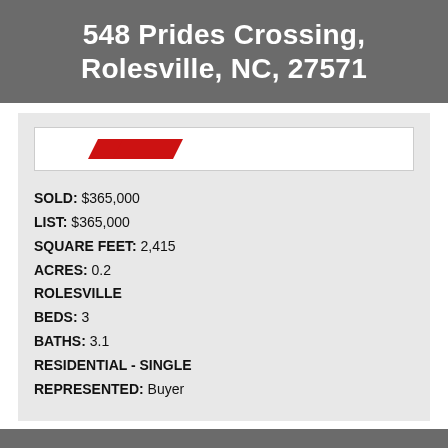548 Prides Crossing, Rolesville, NC, 27571
[Figure (logo): Real estate agency logo with red parallelogram/chevron shape on white background]
SOLD: $365,000
LIST: $365,000
SQUARE FEET: 2,415
ACRES: 0.2
ROLESVILLE
BEDS: 3
BATHS: 3.1
RESIDENTIAL - SINGLE
REPRESENTED: Buyer
506 Tilden Street, Raleigh, NC, 27605